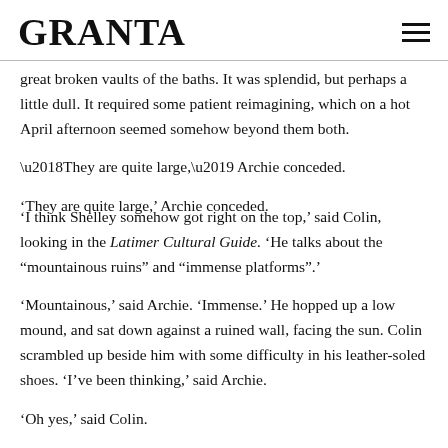GRANTA
great broken vaults of the baths. It was splendid, but perhaps a little dull. It required some patient reimagining, which on a hot April afternoon seemed somehow beyond them both.
‘They are quite large,’ Archie conceded.
‘I think Shelley somehow got right on the top,’ said Colin, looking in the Latimer Cultural Guide. ‘He talks about the “mountainous ruins” and “immense platforms”.’
‘Mountainous,’ said Archie. ‘Immense.’ He hopped up a low mound, and sat down against a ruined wall, facing the sun. Colin scrambled up beside him with some difficulty in his leather-soled shoes. ‘I’ve been thinking,’ said Archie.
‘Oh yes,’ said Colin.